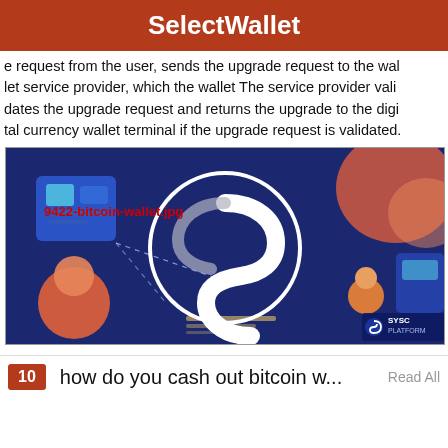SelectWallet
e request from the user, sends the upgrade request to the wallet service provider, which the wallet The service provider validates the upgrade request and returns the upgrade to the digital currency wallet terminal if the upgrade request is validated.
[Figure (illustration): Cryptocurrency/blockchain themed illustration with a Syscoin platform logo (white S on dark blue background with white circle). Text overlay in red reads '9422-bitcoin-wallet.jpg'. Background shows isometric tech graphics, people, and the Syscoin logo in the bottom right.]
10   how do you cash out bitcoin w...   Read All